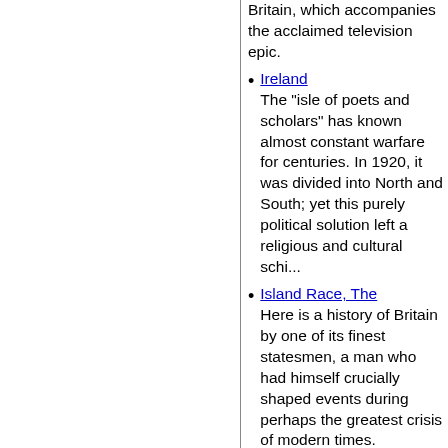Britain, which accompanies the acclaimed television epic.
Ireland
The "isle of poets and scholars" has known almost constant warfare for centuries. In 1920, it was divided into North and South; yet this purely political solution left a religious and cultural schi...
Island Race, The
Here is a history of Britain by one of its finest statesmen, a man who had himself crucially shaped events during perhaps the greatest crisis of modern times.
Jane Austen - A Biography